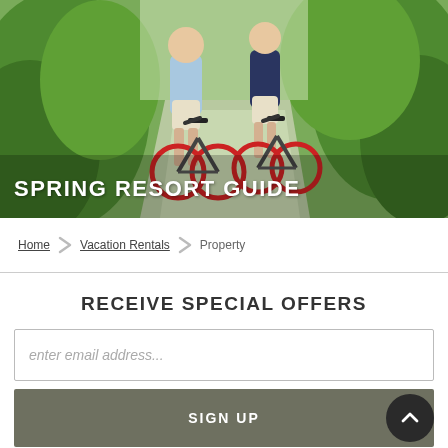[Figure (photo): Two people riding bicycles on a narrow path surrounded by green grass and vegetation. A man in a light blue shirt and a woman in a dark navy top ride red bicycles side by side.]
SPRING RESORT GUIDE
Home > Vacation Rentals > Property
RECEIVE SPECIAL OFFERS
enter email address...
SIGN UP